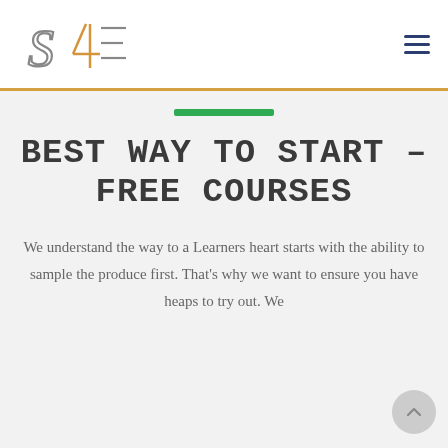SAE logo and navigation menu
BEST WAY TO START – FREE COURSES
We understand the way to a Learners heart starts with the ability to sample the produce first. That's why we want to ensure you have heaps to try out. We